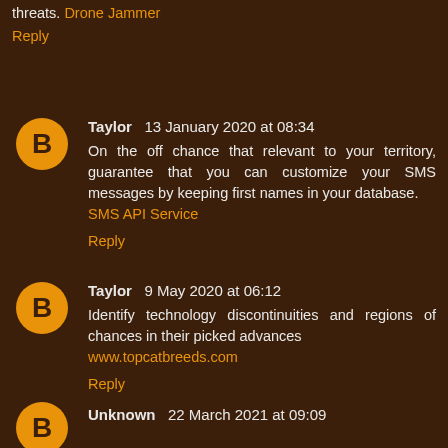threats. Drone Jammer
Reply
Taylor  13 January 2020 at 08:34
On the off chance that relevant to your territory, guarantee that you can customize your SMS messages by keeping first names in your database.
SMS API Service
Reply
Taylor  9 May 2020 at 06:12
Identify technology discontinuities and regions of chances in their picked advances
www.topcatbreeds.com
Reply
Unknown  22 March 2021 at 09:09